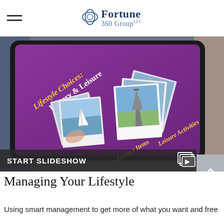Fortune 360 Group LLC
[Figure (photo): Person holding a tablet displaying a purple screen with 'Lifestyle Choices: Luxury & Leisure' text and polaroid-style photos of a sailboat and the Eiffel Tower. 'Leisure Activities' and 'Luxury Items' labels visible on screen. A 'START SLIDESHOW' bar at the bottom with a video play icon.]
Managing Your Lifestyle
Using smart management to get more of what you want and free